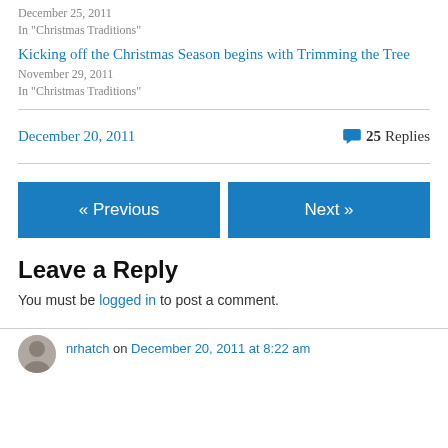December 25, 2011
In "Christmas Traditions"
Kicking off the Christmas Season begins with Trimming the Tree
November 29, 2011
In "Christmas Traditions"
December 20, 2011    💬 25 Replies
« Previous
Next »
Leave a Reply
You must be logged in to post a comment.
nrhatch on December 20, 2011 at 8:22 am